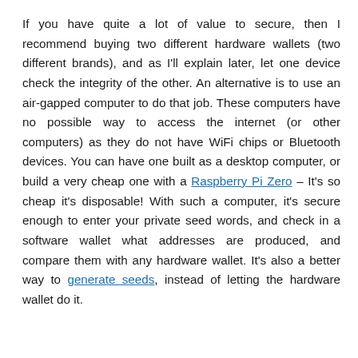If you have quite a lot of value to secure, then I recommend buying two different hardware wallets (two different brands), and as I'll explain later, let one device check the integrity of the other. An alternative is to use an air-gapped computer to do that job. These computers have no possible way to access the internet (or other computers) as they do not have WiFi chips or Bluetooth devices. You can have one built as a desktop computer, or build a very cheap one with a Raspberry Pi Zero – It's so cheap it's disposable! With such a computer, it's secure enough to enter your private seed words, and check in a software wallet what addresses are produced, and compare them with any hardware wallet. It's also a better way to generate seeds, instead of letting the hardware wallet do it.